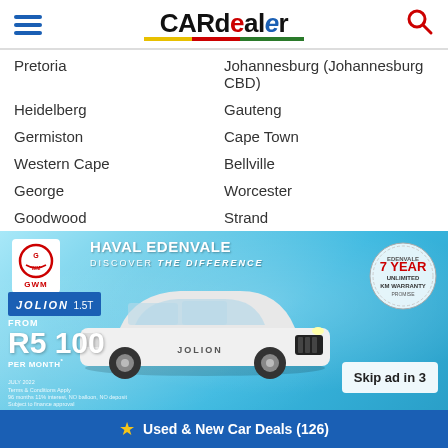CARdealer
Pretoria
Johannesburg (Johannesburg CBD)
Heidelberg
Gauteng
Germiston
Cape Town
Western Cape
Bellville
George
Worcester
Goodwood
Strand
[Figure (infographic): GWM Haval Edenvale advertisement banner showing a white Haval Jolion 1.5T SUV with pricing R5 100 per month and 7 Year Unlimited KM Warranty badge. Skip ad in 3 button visible.]
★ Used & New Car Deals (126)